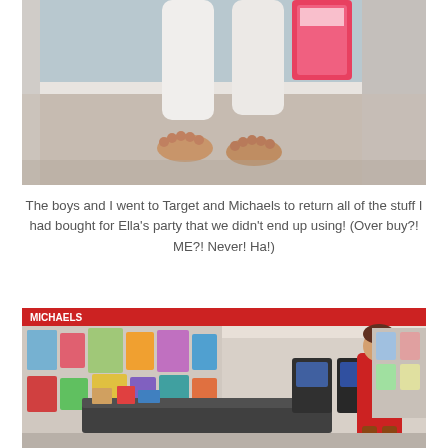[Figure (photo): Lower half of a child's legs and bare feet standing on beige carpet, wearing white leggings and holding a colorful item, with a light blue wall and white baseboard in the background.]
The boys and I went to Target and Michaels to return all of the stuff I had bought for Ella's party that we didn't end up using! (Over buy?! ME?! Never! Ha!)
[Figure (photo): Interior of a retail store (Michaels) showing checkout counters with merchandise displays and a person in a red shirt and brown boots standing at the counter.]